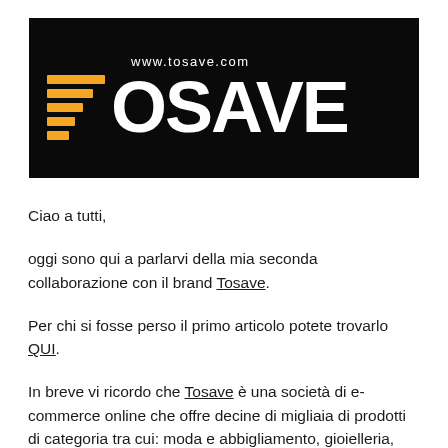[Figure (logo): Tosave brand logo on black background with orange horizontal stripes forming a T shape on the left, white text 'TOSAVE' in large bold font, and 'www.tosave.com' in smaller white text above]
Ciao a tutti,
oggi sono qui a parlarvi della mia seconda collaborazione con il brand Tosave.
Per chi si fosse perso il primo articolo potete trovarlo QUI.
In breve vi ricordo che Tosave è una società di e-commerce online che offre decine di migliaia di prodotti di categoria tra cui: moda e abbigliamento, gioielleria, scarpe e borse, casa e